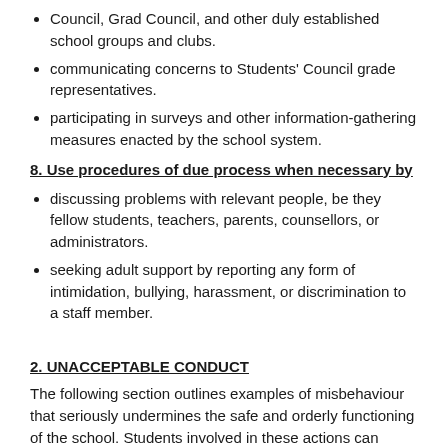Council, Grad Council, and other duly established school groups and clubs.
communicating concerns to Students' Council grade representatives.
participating in surveys and other information-gathering measures enacted by the school system.
8. Use procedures of due process when necessary by
discussing problems with relevant people, be they fellow students, teachers, parents, counsellors, or administrators.
seeking adult support by reporting any form of intimidation, bullying, harassment, or discrimination to a staff member.
2. UNACCEPTABLE CONDUCT
The following section outlines examples of misbehaviour that seriously undermines the safe and orderly functioning of the school. Students involved in these actions can expect serious consequences from the school (see Consequences for Misbehaviour).